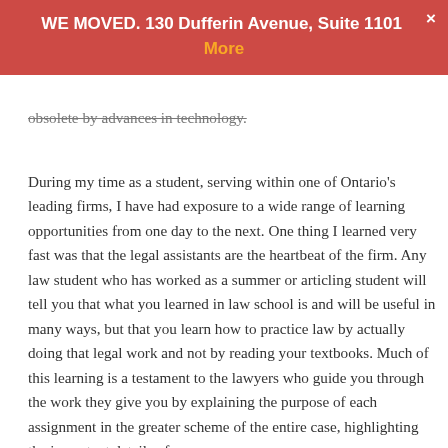WE MOVED. 130 Dufferin Avenue, Suite 1101  More
obsolete by advances in technology.
During my time as a student, serving within one of Ontario's leading firms, I have had exposure to a wide range of learning opportunities from one day to the next. One thing I learned very fast was that the legal assistants are the heartbeat of the firm. Any law student who has worked as a summer or articling student will tell you that what you learned in law school is and will be useful in many ways, but that you learn how to practice law by actually doing that legal work and not by reading your textbooks. Much of this learning is a testament to the lawyers who guide you through the work they give you by explaining the purpose of each assignment in the greater scheme of the entire case, highlighting the important details of